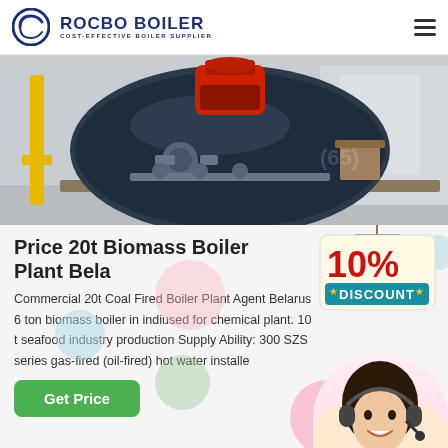[Figure (logo): Rocbo Boiler logo with circular C icon and text ROCBO BOILER COST-EFFECTIVE BOILER SUPPLIER in dark blue]
[Figure (photo): Industrial boiler equipment in a factory setting, showing a large dark cylindrical boiler with red burner attachment, yellow pipes, and various fittings on a platform]
Price 20t Biomass Boiler Plant Bela
Commercial 20t Coal Fired Boiler Plant Agent Belarus 6 ton biomass boiler in indiused for chemical plant. 10 t seafood industry production Supply Ability: 300 SZS series gas-fired (oil-fired) hot water installe
[Figure (illustration): 10% DISCOUNT badge in red and teal cartoon style]
[Figure (photo): Customer service agent woman with headset smiling]
Get Price